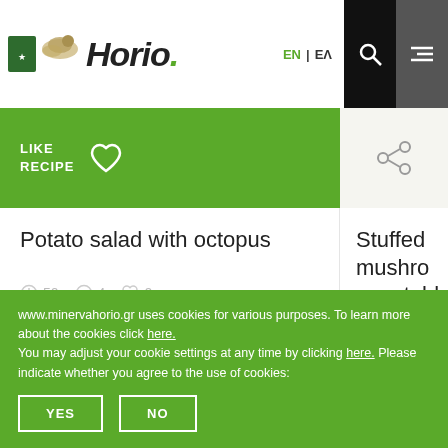[Figure (logo): Horio brand logo with bird icon and green badge]
EN | EA
LIKE RECIPE
Potato salad with octopus
50  4  0
Stuffed mushrooms with vegetables
20  24
www.minervahorio.gr uses cookies for various purposes. To learn more about the cookies click here. You may adjust your cookie settings at any time by clicking here. Please indicate whether you agree to the use of cookies:
YES
NO